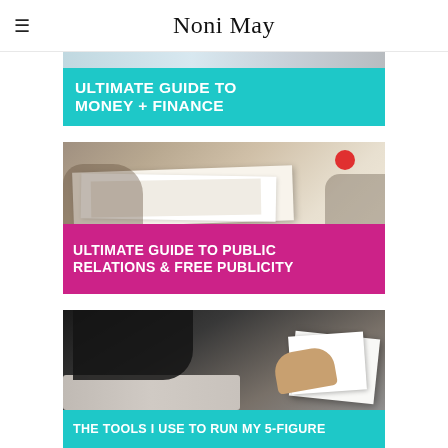Noni May
[Figure (infographic): Banner image reading 'ULTIMATE GUIDE TO MONEY + FINANCE' with teal/cyan background and white bold text]
[Figure (infographic): Photo of people looking at magazines/books with a magenta/pink banner reading 'ULTIMATE GUIDE TO PUBLIC RELATIONS & FREE PUBLICITY' in white bold text]
[Figure (infographic): Photo of a person reading/holding papers with a teal banner partially visible reading 'THE TOOLS I USE TO RUN MY 5-FIGURE...']